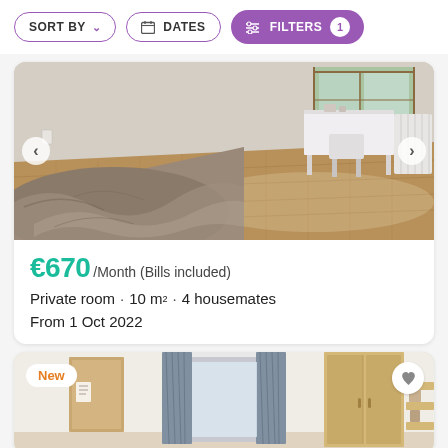SORT BY  DATES  FILTERS 1
[Figure (photo): Bedroom interior with a large bed with grey duvet, wooden parquet floor, white desk and chair in background, radiator on right wall, window with natural light.]
€670 /Month (Bills included)
Private room · 10 m² · 4 housemates
From 1 Oct 2022
[Figure (photo): Bedroom interior with grey curtains hanging from ceiling window, wooden wardrobe visible on right, corkboard on left wall. Badge 'New' visible top-left.]